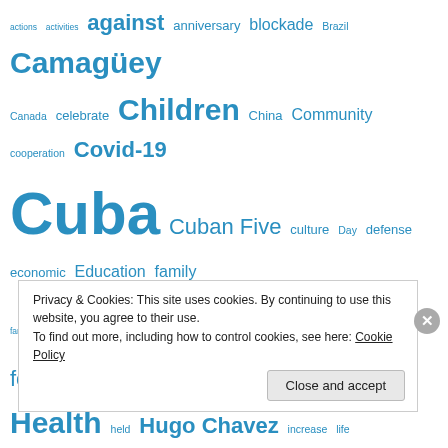[Figure (infographic): Word cloud / tag cloud with terms related to Cuba and related topics, rendered in various font sizes in blue color. Larger words indicate higher frequency/importance. Words include: actions, activities, against, anniversary, blockade, Brazil, Camagüey, Canada, celebrate, Children, China, Community, cooperation, Covid-19, Cuba, Cuban Five, culture, Day, defense, economic, Education, family, farmers, Fidel, Fidel Castro, Florida, food, government, Havana, Health, held, Hugo Chavez, increase, life, Measures, Meeting, message, new, Nicolas Maduro, people, process, production, program, project, Raul Castro, Ready, receive, results, Revolution, Russia, school, services, social, Solidarity, Sports, students, summer, support, task, teachers, Tribute, U.S., UNESCO, United States, US, vaccination, Venezuela, visit, women]
Privacy & Cookies: This site uses cookies. By continuing to use this website, you agree to their use.
To find out more, including how to control cookies, see here: Cookie Policy